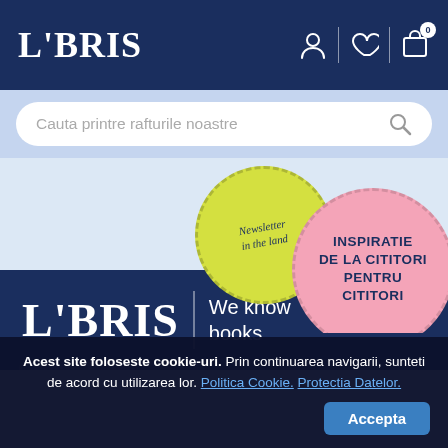LIBRIS
[Figure (screenshot): Search bar with placeholder text 'Cauta printre rafturile noastre' and a search icon on the right]
[Figure (illustration): Two overlapping decorative circles: a yellow-green circle with italic text 'Newsletter in the land' and a pink circle with bold text 'INSPIRATIE DE LA CITITORI PENTRU CITITORI' on a light blue banner background]
[Figure (logo): LIBRIS logo in white with tagline 'We know books' on dark navy background]
Acest site foloseste cookie-uri. Prin continuarea navigarii, sunteti de acord cu utilizarea lor. Politica Cookie. Protectia Datelor.
Grupul Libris
Accepta